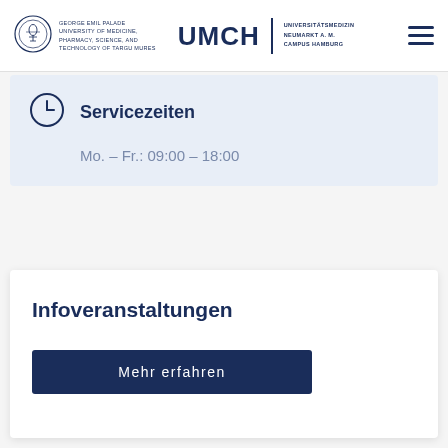GEORGE EMIL PALADE UNIVERSITY OF MEDICINE, PHARMACY, SCIENCE, AND TECHNOLOGY OF TARGU MURES | UMCH | UNIVERSITÄTSMEDIZIN NEUMARKT A. M. CAMPUS HAMBURG
Servicezeiten
Mo. – Fr.: 09:00 – 18:00
Infoveranstaltungen
Mehr erfahren